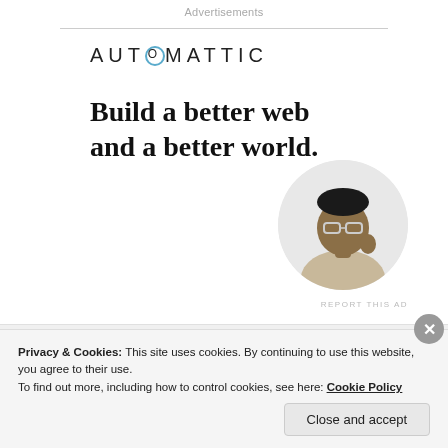Advertisements
[Figure (logo): Automattic logo with stylized O containing a blue circle]
Build a better web and a better world.
[Figure (illustration): Apply button (blue rectangle with white text 'Apply')]
[Figure (photo): Circular cropped photo of a man wearing glasses, sitting thoughtfully at a desk]
REPORT THIS AD
ANANYA
Privacy & Cookies: This site uses cookies. By continuing to use this website, you agree to their use.
To find out more, including how to control cookies, see here: Cookie Policy
Close and accept